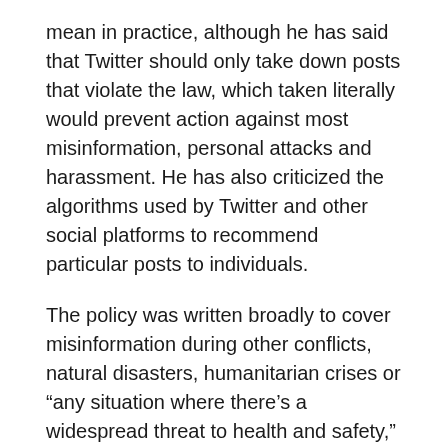mean in practice, although he has said that Twitter should only take down posts that violate the law, which taken literally would prevent action against most misinformation, personal attacks and harassment. He has also criticized the algorithms used by Twitter and other social platforms to recommend particular posts to individuals.
The policy was written broadly to cover misinformation during other conflicts, natural disasters, humanitarian crises or “any situation where there’s a widespread threat to health and safety,” Roth said.
Twitter said it will rely on a variety of credible sources to determine when a post is misleading. Those sources will include humanitarian groups, conflict monitors and journalists.